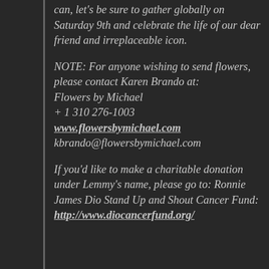can, let's be sure to gather globally on Saturday 9th and celebrate the life of our dear friend and irreplaceable icon.
NOTE: For anyone wishing to send flowers, please contact Karen Brando at: Flowers by Michael + 1 310 276-1003 www.flowersbymichael.com kbrando@flowersbymichael.com
If you'd like to make a charitable donation under Lemmy's name, please go to: Ronnie James Dio Stand Up and Shout Cancer Fund: http://www.diocancerfund.org/